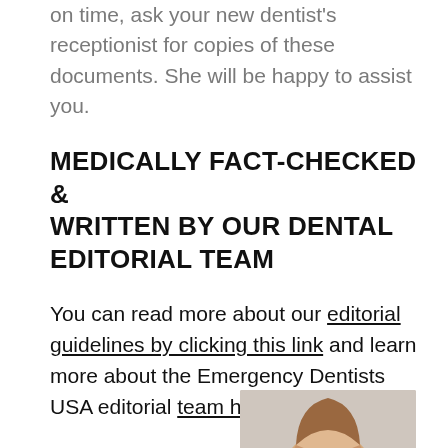on time, ask your new dentist's receptionist for copies of these documents. She will be happy to assist you.
MEDICALLY FACT-CHECKED & WRITTEN BY OUR DENTAL EDITORIAL TEAM
You can read more about our editorial guidelines by clicking this link and learn more about the Emergency Dentists USA editorial team here.
[Figure (photo): Portrait photo of a woman with reddish-brown hair against a neutral background]